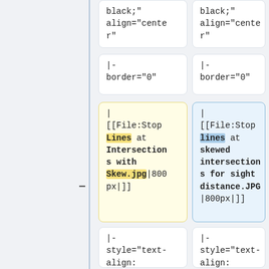black;"
align="center"
black;"
align="center"
|-
border="0"
|-
border="0"
| [[File:Stop Lines at Intersections with Skew.jpg|800px|]]
| [[File:Stop lines at skewed intersections for sight distance.JPG|800px|]]
|-
style="text-align: center"
|-
style="text-align: center"
|Stop Lines at
|Stop Lines at